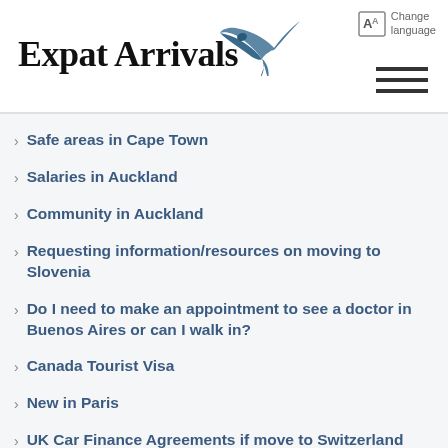[Figure (logo): Expat Arrivals logo with stylized blue swift bird and serif text]
Safe areas in Cape Town
Salaries in Auckland
Community in Auckland
Requesting information/resources on moving to Slovenia
Do I need to make an appointment to see a doctor in Buenos Aires or can I walk in?
Canada Tourist Visa
New in Paris
UK Car Finance Agreements if move to Switzerland (and other loans)
Health Insurance in Geneva for a Child when they become an Adult